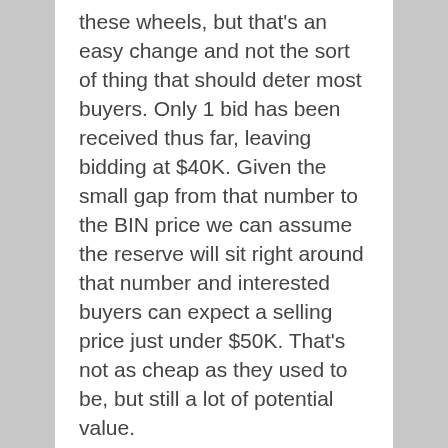these wheels, but that's an easy change and not the sort of thing that should deter most buyers. Only 1 bid has been received thus far, leaving bidding at $40K. Given the small gap from that number to the BIN price we can assume the reserve will sit right around that number and interested buyers can expect a selling price just under $50K. That's not as cheap as they used to be, but still a lot of potential value.